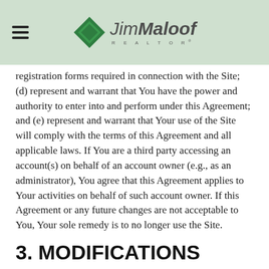Jim Maloof REALTOR®
registration forms required in connection with the Site; (d) represent and warrant that You have the power and authority to enter into and perform under this Agreement; and (e) represent and warrant that Your use of the Site will comply with the terms of this Agreement and all applicable laws. If You are a third party accessing an account(s) on behalf of an account owner (e.g., as an administrator), You agree that this Agreement applies to Your activities on behalf of such account owner. If this Agreement or any future changes are not acceptable to You, Your sole remedy is to no longer use the Site.
3. MODIFICATIONS
MoxiWorks may modify this Agreement at any time in its sole discretion. Modifications are effective upon being posted on the Site and will apply to Your use of the Site after any such changes are posted. Although MoxiWorks may provide notice to You of changes to this Agreement, You are responsible for reviewing the Agreement posted on the Site periodically to ensure that You are aware of any changes. Your continued use of the Site